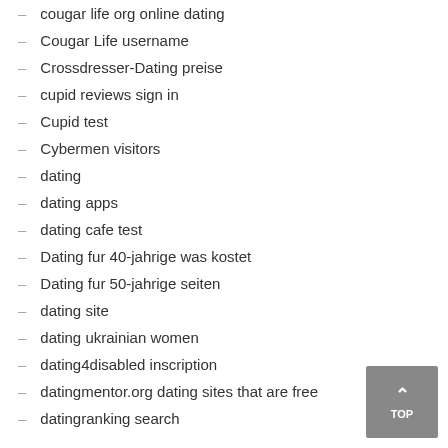cougar life org online dating
Cougar Life username
Crossdresser-Dating preise
cupid reviews sign in
Cupid test
Cybermen visitors
dating
dating apps
dating cafe test
Dating fur 40-jahrige was kostet
Dating fur 50-jahrige seiten
dating site
dating ukrainian women
dating4disabled inscription
datingmentor.org dating sites that are free
datingranking search